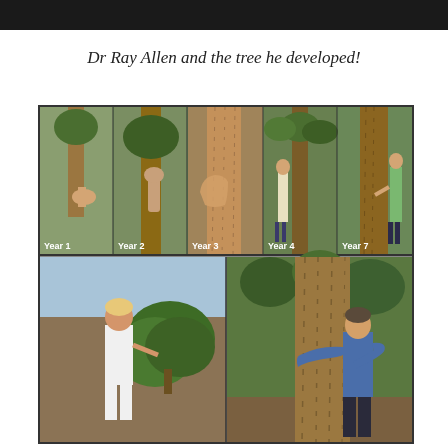Dr Ray Allen and the tree he developed!
[Figure (photo): Composite photo showing tree growth progression labeled Year 1 through Year 7 in the top row, and two photos in the bottom row: left shows Dr Ray Allen standing next to a young leafy tree/shrub, right shows a man hugging a large mature tree trunk in a forest.]